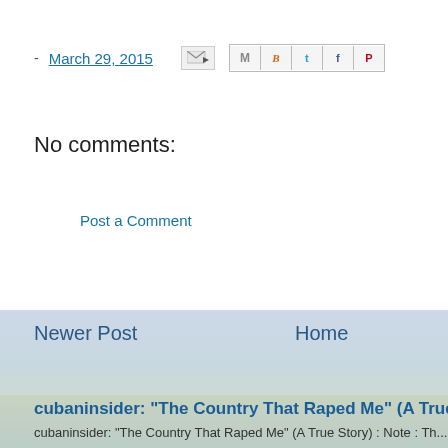- March 29, 2015
No comments:
Post a Comment
Newer Post
Home
Subscribe to: Post Comments (Atom)
cubaninsider: "The Country That Raped Me" (A True Sto...
cubaninsider: "The Country That Raped Me" (A True Story) : Note : Th... Margarita Martinez  was first ...
To Leave OR Stay in Cuba